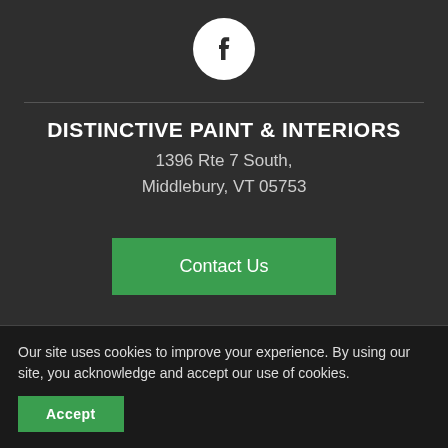[Figure (logo): Facebook logo icon — white 'f' on a white circle with dark background]
DISTINCTIVE PAINT & INTERIORS
1396 Rte 7 South, Middlebury, VT 05753
Contact Us
OUR SERVICES
Shop at Home
Our site uses cookies to improve your experience. By using our site, you acknowledge and accept our use of cookies.
Accept